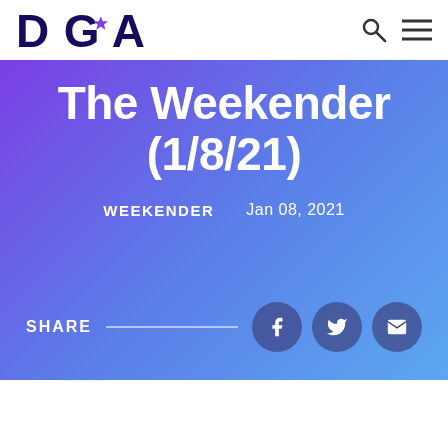DGA
The Weekender (1/8/21)
WEEKENDER   Jan 08, 2021
SHARE